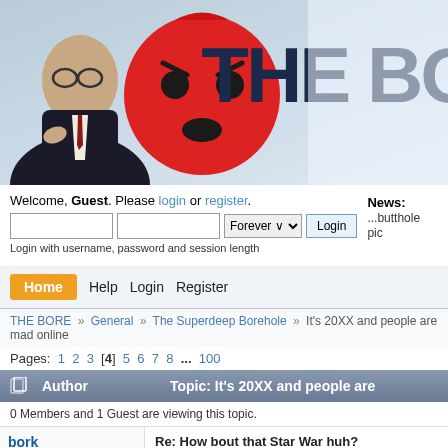[Figure (screenshot): Forum banner header showing a man in a suit, a large red angry face/emoji, and partial text 'THE BO' (THE BORE) on a light blue/grey background]
Welcome, Guest. Please login or register.
Login with username, password and session length
News: ...butthole pic
Home  Help  Login  Register
THE BORE » General » The Superdeep Borehole » It's 20XX and people are mad online
Pages: 1 2 3 [4] 5 6 7 8 ... 100
| Author | Topic: It's 20XX and people are |
| --- | --- |
0 Members and 1 Guest are viewing this topic.
bork
Re: How bout that Star War huh?
« Reply #180 on: April 16, 2015, 02:58:13 PM »